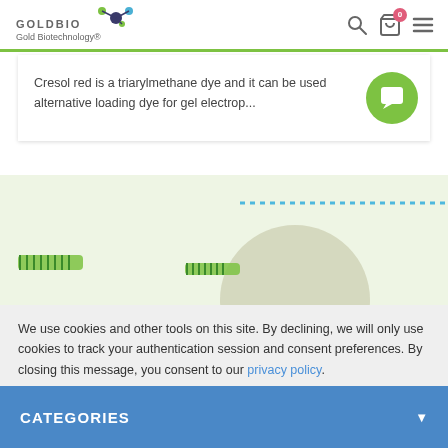GOLDBIO Gold Biotechnology®
Cresol red is a triarylmethane dye and it can be used alternative loading dye for gel electrop...
[Figure (illustration): Green background illustration section with dotted blue line and overlapping grey circles/combs]
We use cookies and other tools on this site. By declining, we will only use cookies to track your authentication session and consent preferences. By closing this message, you consent to our privacy policy.
ACCEPT AND CLOSE
CATEGORIES